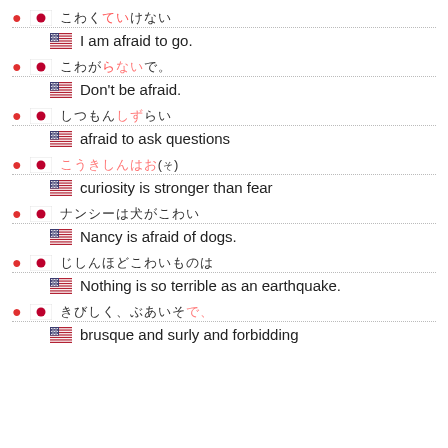Japanese text (afraid to go) | I am afraid to go.
Japanese text (don't be afraid) | Don't be afraid.
Japanese text (afraid to ask questions) | afraid to ask questions
Japanese text (curiosity stronger than fear) | curiosity is stronger than fear
Japanese text (Nancy afraid of dogs) | Nancy is afraid of dogs.
Japanese text (nothing terrible as earthquake) | Nothing is so terrible as an earthquake.
Japanese text (brusque surly forbidding) | brusque and surly and forbidding